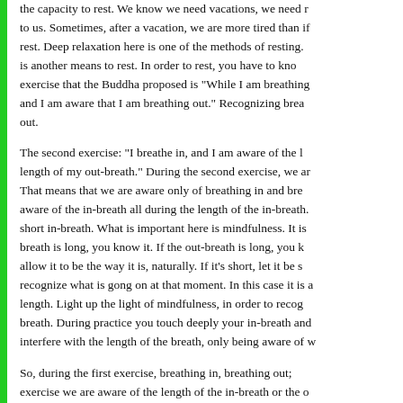the capacity to rest. We know we need vacations, we need rest to us. Sometimes, after a vacation, we are more tired than if rest. Deep relaxation here is one of the methods of resting. is another means to rest. In order to rest, you have to know exercise that the Buddha proposed is "While I am breathing and I am aware that I am breathing out." Recognizing breathing out.
The second exercise: "I breathe in, and I am aware of the length of my out-breath." During the second exercise, we are That means that we are aware only of breathing in and breathing aware of the in-breath all during the length of the in-breath. short in-breath. What is important here is mindfulness. It is breath is long, you know it. If the out-breath is long, you know allow it to be the way it is, naturally. If it's short, let it be short recognize what is gong on at that moment. In this case it is a length. Light up the light of mindfulness, in order to recognize breath. During practice you touch deeply your in-breath and interfere with the length of the breath, only being aware of w
So, during the first exercise, breathing in, breathing out; exercise we are aware of the length of the in-breath or the out my whole body. That means while you breathe like this, you mindfulness you embrace your whole body. You recognize your down, standing, or walking. Breathing is to generate the ob